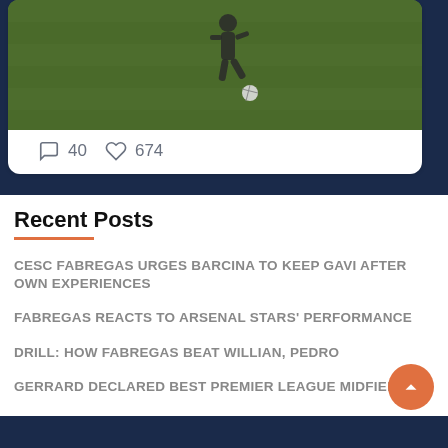[Figure (photo): Soccer player kicking a ball on a green field, screenshot from a video]
40  674
Recent Posts
CESC FABREGAS URGES BARCINA TO KEEP GAVI AFTER OWN EXPERIENCES
FABREGAS REACTS TO ARSENAL STARS' PERFORMANCE
DRILL: HOW FABREGAS BEAT WILLIAN, PEDRO
GERRARD DECLARED BEST PREMIER LEAGUE MIDFIELDER
TCHOUAMENI IS STILL A CHELSEA TARGET